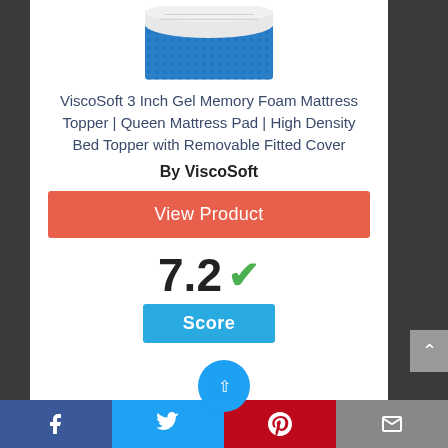[Figure (photo): Partial product photo of ViscoSoft gel memory foam mattress topper showing blue and white layered foam, viewed from above at an angle.]
ViscoSoft 3 Inch Gel Memory Foam Mattress Topper | Queen Mattress Pad | High Density Bed Topper with Removable Fitted Cover
By ViscoSoft
View Product
7.2 ✓
Score